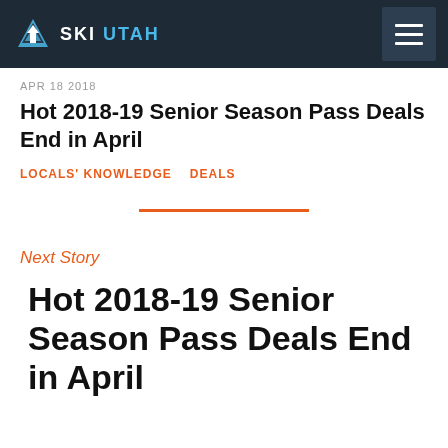SKI UTAH
APR 18 2018
Hot 2018-19 Senior Season Pass Deals End in April
LOCALS' KNOWLEDGE   DEALS
Next Story
Hot 2018-19 Senior Season Pass Deals End in April